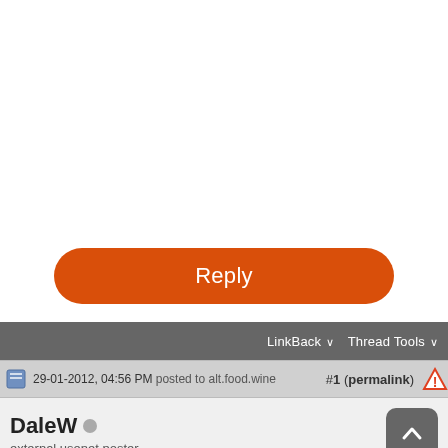[Figure (screenshot): White blank area at top of forum page]
[Figure (screenshot): Orange rounded Reply button]
LinkBack  Thread Tools
29-01-2012, 04:56 PM posted to alt.food.wine   #1 (permalink)
DaleW
external usenet poster
So when my friend Dave sent that theme for our local (not very serious) group this month was New World Grenache (at least 45% Grenache), I immediately replied all with "what did I ever do to you that makes you hate me